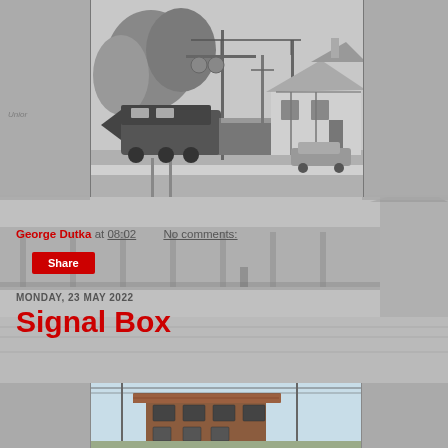[Figure (photo): Black and white photograph of a diesel locomotive at a station with a Victorian-style station building and vintage car parked outside. Overhead electric catenary visible. Trees in background.]
George Dutka at 08:02    No comments:
Share
MONDAY, 23 MAY 2022
Signal Box
[Figure (photo): Partial view of a signal box building with brick construction and red tiled roof, photographed against a light blue sky. Power lines visible.]